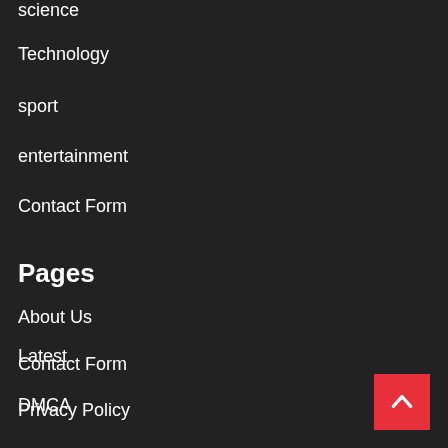science
Technology
sport
entertainment
Contact Form
Pages
About Us
Contact Form
DMCA
Latest
Privacy Policy